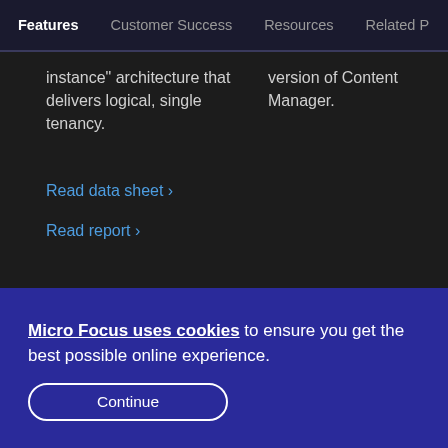Features  Customer Success  Resources  Related P
instance" architecture that delivers logical, single tenancy.
version of Content Manager.
Read data sheet ›
Read report ›
Micro Focus uses cookies to ensure you get the best possible online experience.
Continue